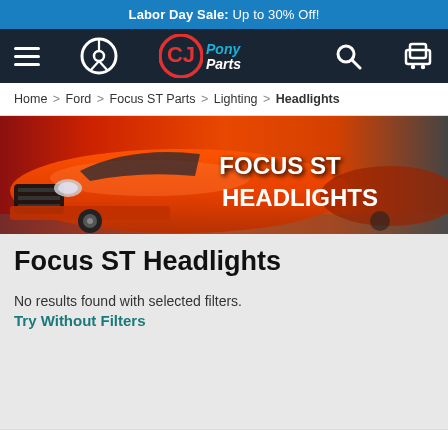Labor Day Sale: Up to 30% Off!
[Figure (screenshot): Navigation bar with hamburger menu, steering wheel icon, CJ PonyParts logo, search icon, and cart icon on dark background]
Home > Ford > Focus ST Parts > Lighting > Headlights
[Figure (photo): Hero banner showing orange Ford Focus ST car from front angle with text overlay reading FOCUS ST HEADLIGHTS]
Focus ST Headlights
No results found with selected filters.
Try Without Filters